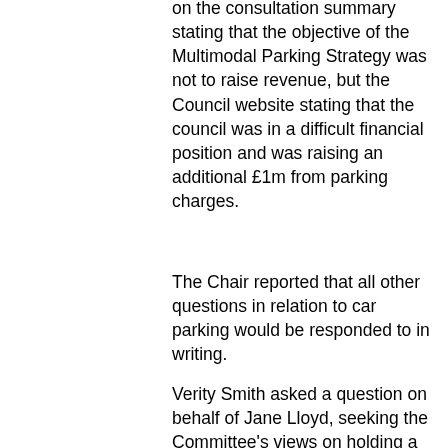on the consultation summary stating that the objective of the Multimodal Parking Strategy was not to raise revenue, but the Council website stating that the council was in a difficult financial position and was raising an additional £1m from parking charges.
The Chair reported that all other questions in relation to car parking would be responded to in writing.
Verity Smith asked a question on behalf of Jane Lloyd, seeking the Committee's views on holding a stakeholder meeting with the Hoylake Beach Community group following the consultation period around Hoylake Beach. In response, the Chair detailed the already agreed stakeholder consultation process was due to commence shortly, which would allow consultees to put forward their ideas around solutions and compromises, and those that were deliverable within the regulatory framework protecting North Wirral Foreshore SSSI would be taken into account. It was reported that